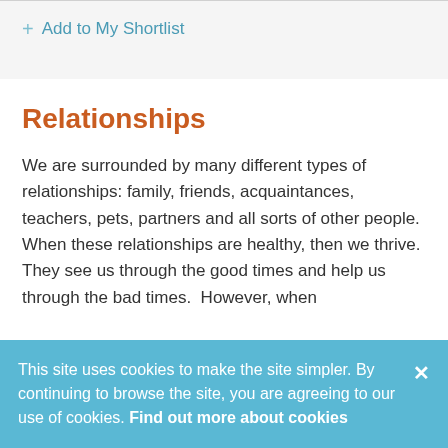+ Add to My Shortlist
Relationships
We are surrounded by many different types of relationships: family, friends, acquaintances, teachers, pets, partners and all sorts of other people.  When these relationships are healthy, then we thrive. They see us through the good times and help us through the bad times.  However, when
This site uses cookies to make the site simpler. By continuing to browse the site, you are agreeing to our use of cookies. Find out more about cookies